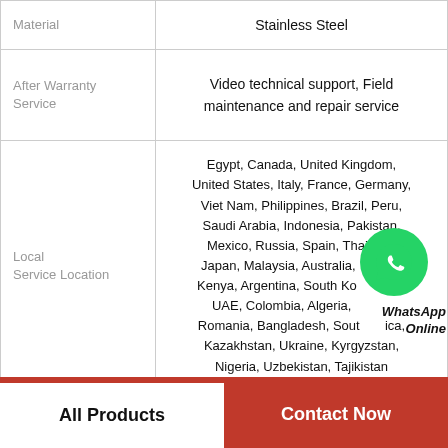|  |  |
| --- | --- |
| Material | Stainless Steel |
| After Warranty Service | Video technical support, Field maintenance and repair service |
| Local Service Location | Egypt, Canada, United Kingdom, United States, Italy, France, Germany, Viet Nam, Philippines, Brazil, Peru, Saudi Arabia, Indonesia, Pakistan, Mexico, Russia, Spain, Thailand, Japan, Malaysia, Australia, Morocco, Kenya, Argentina, South Korea, Chile, UAE, Colombia, Algeria, Sri Lanka, Romania, Bangladesh, South Africa, Kazakhstan, Ukraine, Kyrgyzstan, Nigeria, Uzbekistan, Tajikistan |
| Certification | CE ISO SGS |
All Products
Contact Now